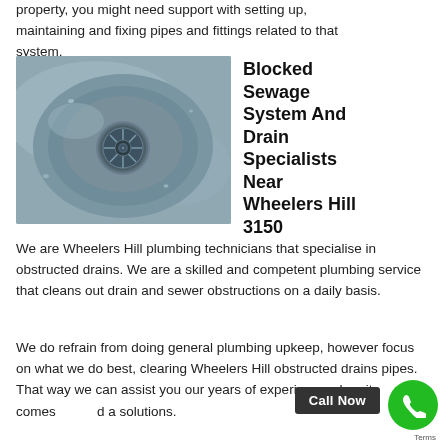property, you might need support with setting up, maintaining and fixing pipes and fittings related to that system.
[Figure (photo): Close-up photo of a stainless steel sink drain with a round strainer basket]
Blocked Sewage System And Drain Specialists Near Wheelers Hill 3150
We are Wheelers Hill plumbing technicians that specialise in obstructed drains. We are a skilled and competent plumbing service that cleans out drain and sewer obstructions on a daily basis.
We do refrain from doing general plumbing upkeep, however focus on what we do best, clearing Wheelers Hill obstructed drains pipes. That way we can assist you our years of experience when it comes d solutions.